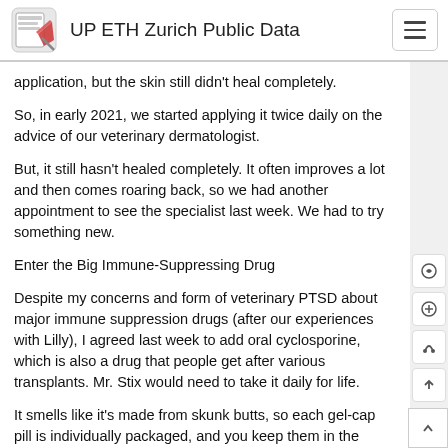UP ETH Zurich Public Data
application, but the skin still didn't heal completely.
So, in early 2021, we started applying it twice daily on the advice of our veterinary dermatologist.
But, it still hasn't healed completely. It often improves a lot and then comes roaring back, so we had another appointment to see the specialist last week. We had to try something new.
Enter the Big Immune-Suppressing Drug
Despite my concerns and form of veterinary PTSD about major immune suppression drugs (after our experiences with Lilly), I agreed last week to add oral cyclosporine, which is also a drug that people get after various transplants. Mr. Stix would need to take it daily for life.
It smells like it's made from skunk butts, so each gel-cap pill is individually packaged, and you keep them in the freezer because that can help with nausea it can cause (since it's recommended you give on an empty stomach).